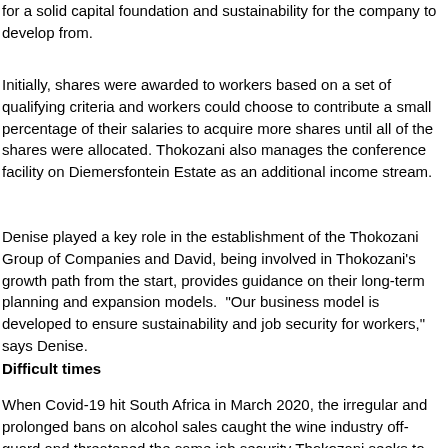for a solid capital foundation and sustainability for the company to develop from.
Initially, shares were awarded to workers based on a set of qualifying criteria and workers could choose to contribute a small percentage of their salaries to acquire more shares until all of the shares were allocated. Thokozani also manages the conference facility on Diemersfontein Estate as an additional income stream.
Denise played a key role in the establishment of the Thokozani Group of Companies and David, being involved in Thokozani's growth path from the start, provides guidance on their long-term planning and expansion models.  "Our business model is developed to ensure sustainability and job security for workers," says Denise.
Difficult times
When Covid-19 hit South Africa in March 2020, the irregular and prolonged bans on alcohol sales caught the wine industry off-guard and threatened the same job security Thokozani seeks to protect.  "With the sudden loss of income at critical times in our wine production cycle and